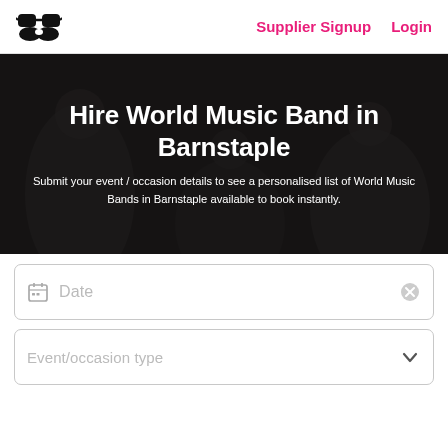Supplier Signup  Login
Hire World Music Band in Barnstaple
Submit your event / occasion details to see a personalised list of World Music Bands in Barnstaple available to book instantly.
[Figure (screenshot): Date input field with calendar icon and clear button]
[Figure (screenshot): Event/occasion type dropdown field with chevron arrow]